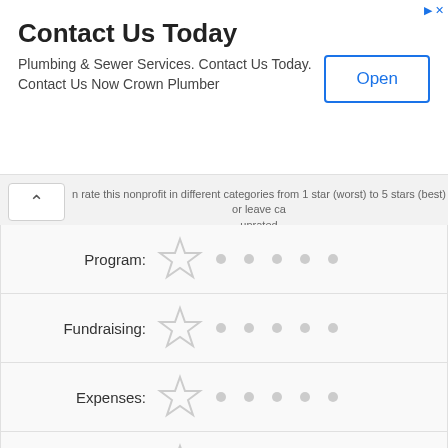Contact Us Today
Plumbing & Sewer Services. Contact Us Today. Contact Us Now Crown Plumber
n rate this nonprofit in different categories from 1 star (worst) to 5 stars (best) or leave ca unrated
Program:
Fundraising:
Expenses:
Transparency:
Your Review